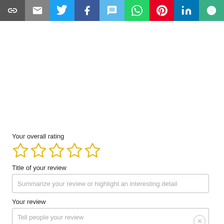[Figure (infographic): Social share toolbar with 9 icon buttons: link/copy, email, Twitter, Facebook, SMS, WhatsApp, Pinterest, LinkedIn, and more options]
Your overall rating
[Figure (infographic): Five empty star icons for rating input (outlined gold stars)]
Title of your review
Summarize your review or highlight an interesting detail
Your review
Tell people your review